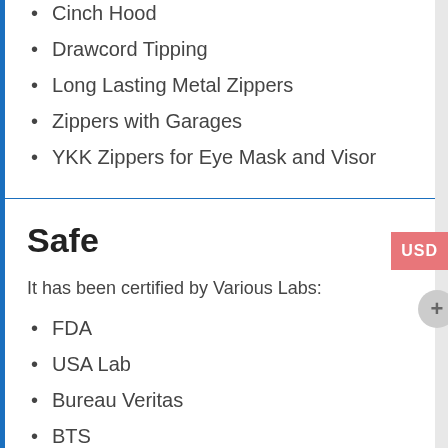Cinch Hood
Drawcord Tipping
Long Lasting Metal Zippers
Zippers with Garages
YKK Zippers for Eye Mask and Visor
Safe
It has been certified by Various Labs:
FDA
USA Lab
Bureau Veritas
BTS
SITRA